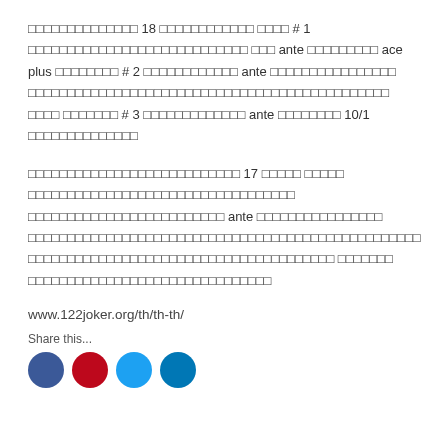□□□□□□□□□□□□□□ 18 □□□□□□□□□□□□ □□□□ # 1 □□□□□□□□□□□□□□□□□□□□□□□□□□□□ □□□ ante □□□□□□□□□ ace plus □□□□□□□□ # 2 □□□□□□□□□□□□ ante □□□□□□□□□□□□□□□□□□□□□□□□□□□□□□□□□□□□□□□□□□□□□□□□□□□□□□□□□□ □□□□ □□□□□□□ # 3 □□□□□□□□□□□□□ ante □□□□□□□□ 10/1 □□□□□□□□□□□□□□
□□□□□□□□□□□□□□□□□□□□□□□□□□□ 17 □□□□□ □□□□□ □□□□□□□□□□□□□□□□□□□□□□□□□□□□□□□□□□□□□□□□□□□□□□□ ante □□□□□□□□□□□□□□□□□□□□□□□□□□□□□□□□□□□□□□□□□□□□□□□□□□□□□□□□□□□□□□ □□□□□□□ □□□□□□□□□□□□□□□□□□□□□□□□□□□□□□□
www.122joker.org/th/th-th/
Share this...